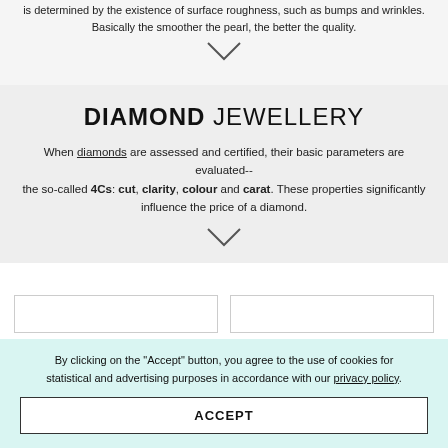is determined by the existence of surface roughness, such as bumps and wrinkles. Basically the smoother the pearl, the better the quality.
DIAMOND JEWELLERY
When diamonds are assessed and certified, their basic parameters are evaluated-- the so-called 4Cs: cut, clarity, colour and carat. These properties significantly influence the price of a diamond.
By clicking on the "Accept" button, you agree to the use of cookies for statistical and advertising purposes in accordance with our privacy policy.